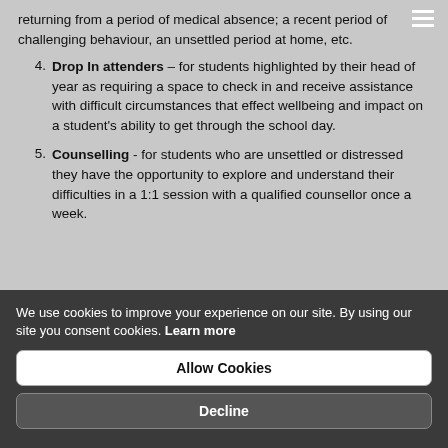returning from a period of medical absence; a recent period of challenging behaviour, an unsettled period at home, etc.
Drop In attenders – for students highlighted by their head of year as requiring a space to check in and receive assistance with difficult circumstances that effect wellbeing and impact on a student's ability to get through the school day.
Counselling - for students who are unsettled or distressed they have the opportunity to explore and understand their difficulties in a 1:1 session with a qualified counsellor once a week.
We use cookies to improve your experience on our site. By using our site you consent cookies. Learn more
Allow Cookies
Decline